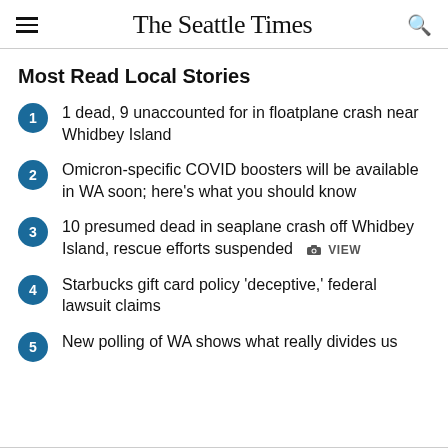The Seattle Times
Most Read Local Stories
1 dead, 9 unaccounted for in floatplane crash near Whidbey Island
Omicron-specific COVID boosters will be available in WA soon; here's what you should know
10 presumed dead in seaplane crash off Whidbey Island, rescue efforts suspended  VIEW
Starbucks gift card policy 'deceptive,' federal lawsuit claims
New polling of WA shows what really divides us